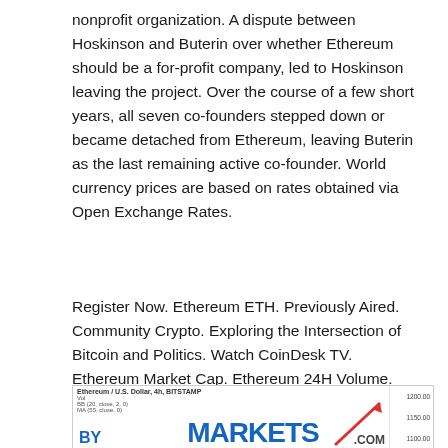nonprofit organization. A dispute between Hoskinson and Buterin over whether Ethereum should be a for-profit company, led to Hoskinson leaving the project. Over the course of a few short years, all seven co-founders stepped down or became detached from Ethereum, leaving Buterin as the last remaining active co-founder. World currency prices are based on rates obtained via Open Exchange Rates.
Register Now. Ethereum ETH. Previously Aired. Community Crypto. Exploring the Intersection of Bitcoin and Politics. Watch CoinDesk TV. Ethereum Market Cap. Ethereum 24H Volume. Ethereum Price. All Time High. Returns YTD. Ethereum Market Stats. Total Supply. Max Supply.
[Figure (screenshot): Partial screenshot of a financial chart showing Ethereum / U.S. Dollar, 4h, BITSTAMP. Shows Vol, BB (20, close, 2, 0), MA (55, close, 0) labels, price levels 1200.00, 1150.00, 1100.00 on the right axis, a red upward-trending arrow, and partial BYMARKETS.COM watermark text in blue.]